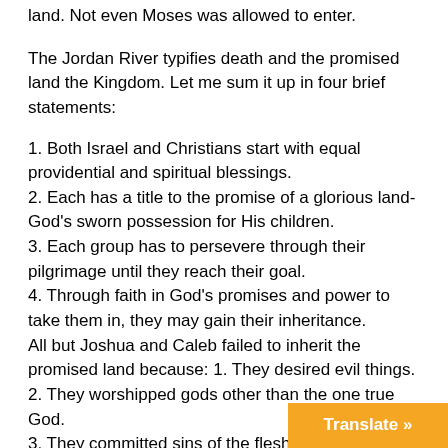land. Not even Moses was allowed to enter.
The Jordan River typifies death and the promised land the Kingdom. Let me sum it up in four brief statements:
1. Both Israel and Christians start with equal providential and spiritual blessings.
2. Each has a title to the promise of a glorious land-God’s sworn possession for His children.
3. Each group has to persevere through their pilgrimage until they reach their goal.
4. Through faith in God’s promises and power to take them in, they may gain their inheritance.
All but Joshua and Caleb failed to inherit the promised land because: 1. They desired evil things.
2. They worshipped gods other than the one true God.
3. They committed sins of the flesh.
4. They provoked God by saying they wished they had never started.
5. They murmured against God’s judgments and against His leadership.